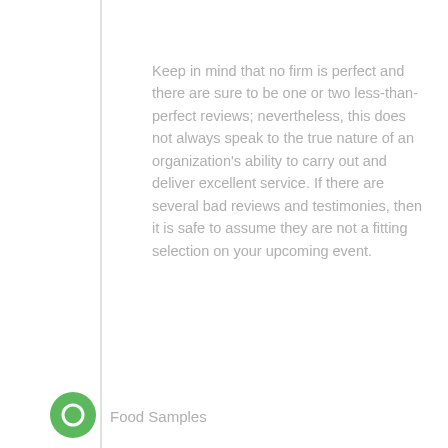Keep in mind that no firm is perfect and there are sure to be one or two less-than-perfect reviews; nevertheless, this does not always speak to the true nature of an organization's ability to carry out and deliver excellent service. If there are several bad reviews and testimonies, then it is safe to assume they are not a fitting selection on your upcoming event.
Food Samples